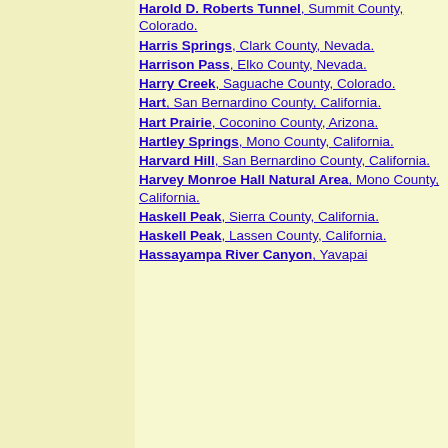Harold D. Roberts Tunnel, Summit County, Colorado.
Harris Springs, Clark County, Nevada.
Harrison Pass, Elko County, Nevada.
Harry Creek, Saguache County, Colorado.
Hart, San Bernardino County, California.
Hart Prairie, Coconino County, Arizona.
Hartley Springs, Mono County, California.
Harvard Hill, San Bernardino County, California.
Harvey Monroe Hall Natural Area, Mono County, California.
Haskell Peak, Sierra County, California.
Haskell Peak, Lassen County, California.
Hassayampa River Canyon, Yavapai